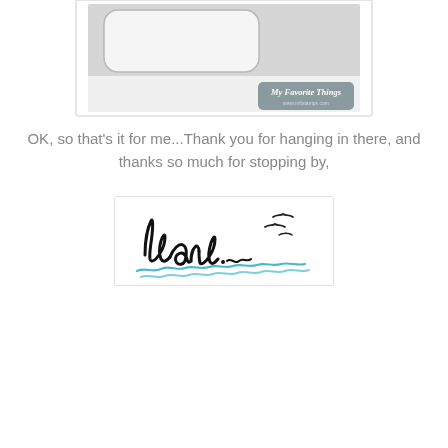[Figure (illustration): A card sketch/template illustration showing a gray card layout with a rounded rectangle window cutout in the upper portion, and a 'My Favorite Things' branded label in the lower right corner with website www.mftstamps.com]
OK, so that's it for me...Thank you for hanging in there, and thanks so much for stopping by,
[Figure (illustration): A signature image showing the handwritten name 'barb' in casual black script lettering with small bird silhouettes flying to the upper right and blue wavy water lines beneath the text]